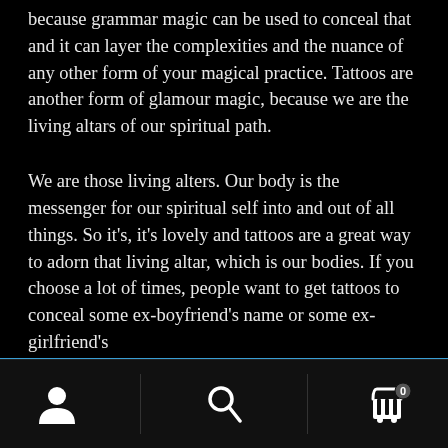because grammar magic can be used to conceal that and it can layer the complexities and the nuance of any other form of your magical practice. Tattoos are another form of glamour magic, because we are the living altars of our spiritual path.
We are those living alters. Our body is the messenger for our spiritual self into and out of all things. So it’s, it’s lovely and tattoos are a great way to adorn that living altar, which is our bodies. If you choose a lot of times, people want to get tattoos to conceal some ex-boyfriend’s name or some ex-girlfriend’s
ℹ The Major Arcana: A Poetry Collection book is here! Get it at the Store : Handmade Creations
Dismiss
[Figure (infographic): Bottom navigation bar with three icons: user/account icon on left, search magnifying glass icon in center, shopping cart icon with badge showing 0 on right. Two vertical dividers separate the sections.]